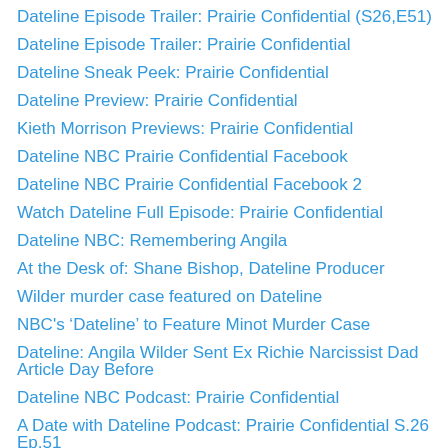Dateline Episode Trailer: Prairie Confidential (S26,E51)
Dateline Episode Trailer: Prairie Confidential
Dateline Sneak Peek: Prairie Confidential
Dateline Preview: Prairie Confidential
Kieth Morrison Previews: Prairie Confidential
Dateline NBC Prairie Confidential Facebook
Dateline NBC Prairie Confidential Facebook 2
Watch Dateline Full Episode: Prairie Confidential
Dateline NBC: Remembering Angila
At the Desk of: Shane Bishop, Dateline Producer
Wilder murder case featured on Dateline
NBC's ‘Dateline’ to Feature Minot Murder Case
Dateline: Angila Wilder Sent Ex Richie Narcissist Dad Article Day Before
Dateline NBC Podcast: Prairie Confidential
A Date with Dateline Podcast: Prairie Confidential S.26 Ep.51